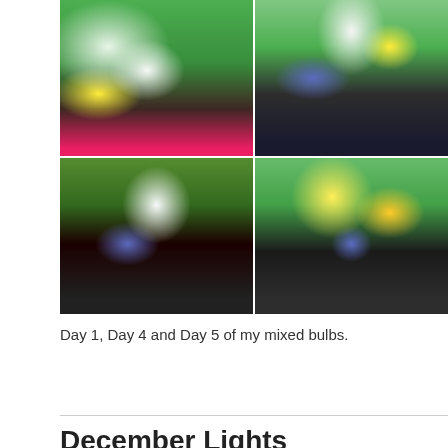[Figure (photo): A collage of three photos showing mixed flower bulbs in pots. Left image shows Day 1: white hyacinths and yellow flowers in a red decorative pot. Top right shows Day 4: white hyacinths and purple iris in a dark pot with artwork in background. Bottom right shows Day 5: yellow tulips, purple iris, yellow daffodils in a dark teal pot with saucer on a dark table.]
Day 1, Day 4 and Day 5 of my mixed bulbs.
December Lights